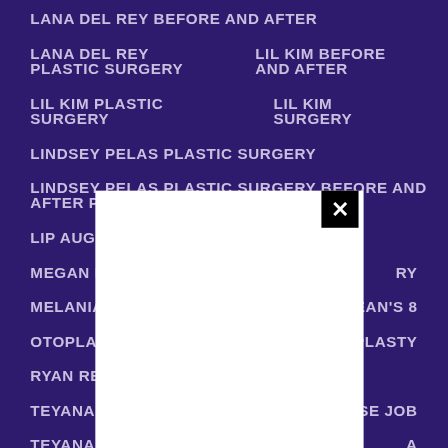LANA DEL REY BEFORE AND AFTER
LANA DEL REY PLASTIC SURGERY   LIL KIM BEFORE AND AFTER
LIL KIM PLASTIC SURGERY   LIL KIM SURGERY
LINDSEY PELAS PLASTIC SURGERY
LINDSEY PELAS PLASTIC SURGERY BEFORE AND AFTER PHOTOS
LIP AUGMENTATION   LIPOSUCTION
MEGAN FOX [obscured] RY
MELANIA TR[obscured] OCEAN'S 8
OTOPLASTY [obscured] NOPLASTY
RYAN REYNO[obscured]
TEYANA TAY[obscured] SE JOB
TEYANA TAY[obscured] A
[Figure (screenshot): White popup overlay with black close button (×) partially covering the list content]